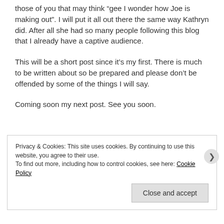those of you that may think “gee I wonder how Joe is making out”. I will put it all out there the same way Kathryn did. After all she had so many people following this blog that I already have a captive audience.
This will be a short post since it’s my first. There is much to be written about so be prepared and please don’t be offended by some of the things I will say.
Coming soon my next post. See you soon.
Privacy & Cookies: This site uses cookies. By continuing to use this website, you agree to their use.
To find out more, including how to control cookies, see here: Cookie Policy
Close and accept